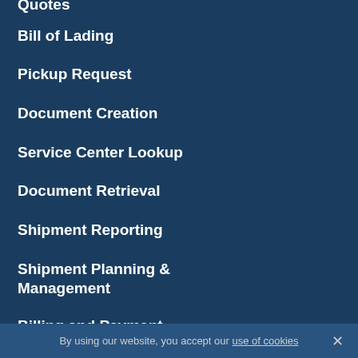Quotes
Bill of Lading
Pickup Request
Document Creation
Service Center Lookup
Document Retrieval
Shipment Reporting
Shipment Planning & Management
Billing and Payment
Calculators
Submit a Claim
International Coverage Area
Sailing Schedules
By using our website, you accept our use of cookies  ×